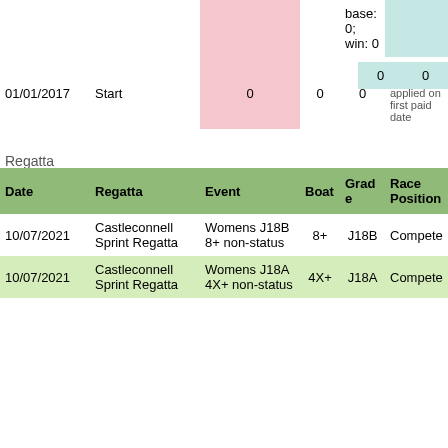| Date | Regatta | Event | Boat | Grade | Race Position |
| --- | --- | --- | --- | --- | --- |
| 01/01/2017 | Start | 0 | 0 | 0 | start points applied on first paid date | 0 | 0 |
| Regatta |  |  |  |  |  |  |  |
| Date | Regatta | Event | Boat | Grade | Race Position |  |  |
| 10/07/2021 | Castleconnell Sprint Regatta | Womens J18B 8+ non-status | 8+ | J18B | Compete |  |  |
| 10/07/2021 | Castleconnell Sprint Regatta | Womens J18A 4X+ non-status | 4X+ | J18A | Compete |  |  |